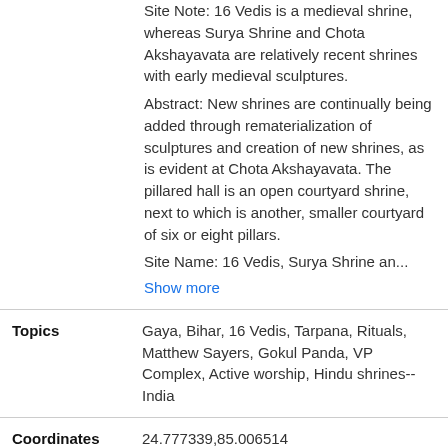Site Note: 16 Vedis is a medieval shrine, whereas Surya Shrine and Chota Akshayavata are relatively recent shrines with early medieval sculptures. Abstract: New shrines are continually being added through rematerialization of sculptures and creation of new shrines, as is evident at Chota Akshayavata. The pillared hall is an open courtyard shrine, next to which is another, smaller courtyard of six or eight pillars. Site Name: 16 Vedis, Surya Shrine an... Show more
Topics: Gaya, Bihar, 16 Vedis, Tarpana, Rituals, Matthew Sayers, Gokul Panda, VP Complex, Active worship, Hindu shrines--India
Coordinates: 24.777339,85.006514